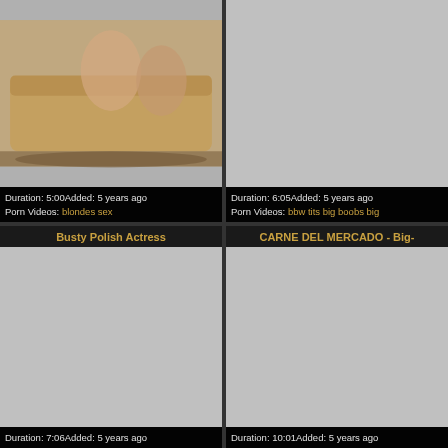[Figure (photo): Top-left video thumbnail showing two women on a couch]
Duration: 5:00Added: 5 years ago Porn Videos: blondes sex
[Figure (photo): Top-right video thumbnail, gray placeholder]
Duration: 6:05Added: 5 years ago Porn Videos: bbw tits big boobs big
Busty Polish Actress
[Figure (photo): Bottom-left video thumbnail, gray placeholder]
Duration: 7:06Added: 5 years ago
CARNE DEL MERCADO - Big-
[Figure (photo): Bottom-right video thumbnail, gray placeholder]
Duration: 10:01Added: 5 years ago